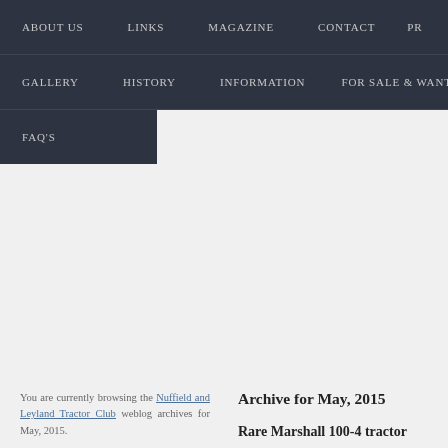ABOUT US   LINKS   MAGAZINE   CONTACT   PR   GALLERY   HISTORY   INFORMATION   FOR SALE & WANT   FAQ'S
You are currently browsing the Nuffield and Leyland Tractor Club weblog archives for May, 2015.
Archive for May, 2015
Rare Marshall 100-4 tractor